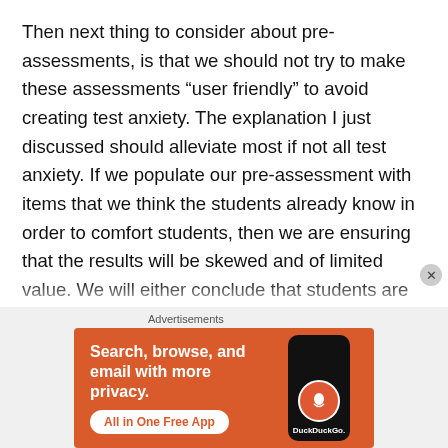Then next thing to consider about pre-assessments, is that we should not try to make these assessments “user friendly” to avoid creating test anxiety. The explanation I just discussed should alleviate most if not all test anxiety. If we populate our pre-assessment with items that we think the students already know in order to comfort students, then we are ensuring that the results will be skewed and of limited value. We will either conclude that students are more proficient than they really are, and so plan instruction that is too advanced, or, if we interpret their success on easy questions too broadly, we will be prone to avoid
[Figure (other): DuckDuckGo advertisement banner with orange background. Text reads: 'Search, browse, and email with more privacy. All in One Free App' with a DuckDuckGo logo on a phone graphic.]